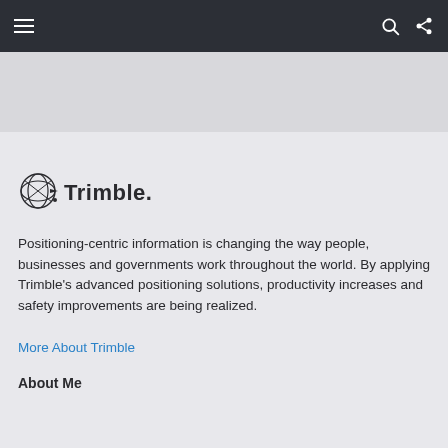≡  🔍  ⋗
[Figure (other): Gray banner/hero image placeholder area]
[Figure (logo): Trimble logo with globe icon and Trimble wordmark]
Positioning-centric information is changing the way people, businesses and governments work throughout the world. By applying Trimble's advanced positioning solutions, productivity increases and safety improvements are being realized.
More About Trimble
About Me